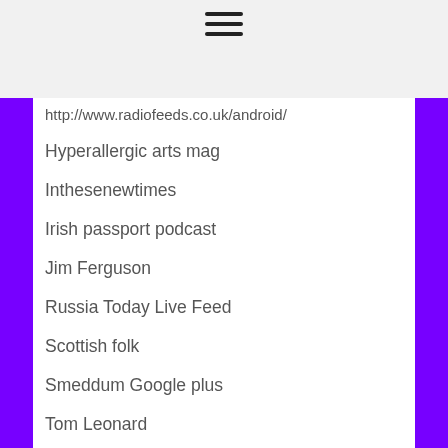[Figure (other): Hamburger menu icon (three horizontal lines)]
http://www.radiofeeds.co.uk/android/
Hyperallergic arts mag
Inthesenewtimes
Irish passport podcast
Jim Ferguson
Russia Today Live Feed
Scottish folk
Smeddum Google plus
Tom Leonard
Truly Scottish TV
UK trade union newsfeed
Unite against austerity
What's Left
Wings over Scotland